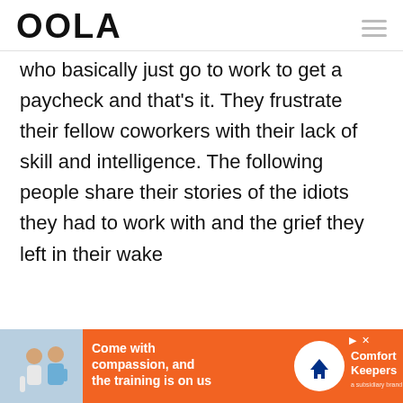OOLA
who basically just go to work to get a paycheck and that's it. They frustrate their fellow coworkers with their lack of skill and intelligence. The following people share their stories of the idiots they had to work with and the grief they left in their wake
[Figure (infographic): Advertisement banner for Comfort Keepers: orange background with photo of caregiver and elderly person, text 'Come with compassion, and the training is on us', Comfort Keepers logo in white circle]